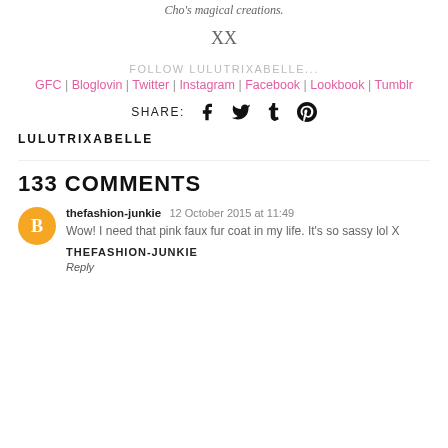Cho's magical creations.
XX
FOLLOW LULUTRIXABELLE...
GFC | Bloglovin | Twitter | Instagram | Facebook | Lookbook | Tumblr
SHARE:
LULUTRIXABELLE
133 COMMENTS
thefashion-junkie  12 October 2015 at 11:49
Wow! I need that pink faux fur coat in my life. It's so sassy lol X
THEFASHION-JUNKIE
Reply